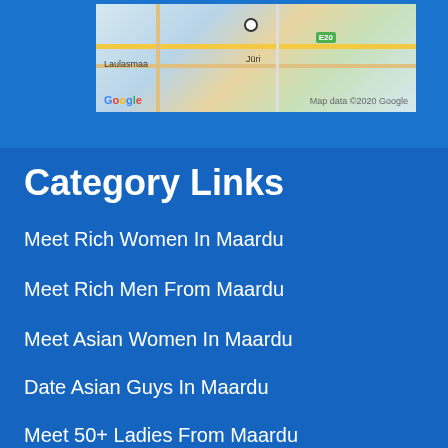[Figure (map): Google Maps screenshot showing Maardu area in Estonia with roads, E20 highway marker, Laulasmaa and Jüri labels, and Google branding with Map data ©2020 Google]
Category Links
Meet Rich Women In Maardu
Meet Rich Men From Maardu
Meet Asian Women In Maardu
Date Asian Guys In Maardu
Meet 50+ Ladies From Maardu
Meet Older Dudes In Maardu
Meet Single Tattooed Singles From Maardu
Meet Tattoo Singles In Maardu